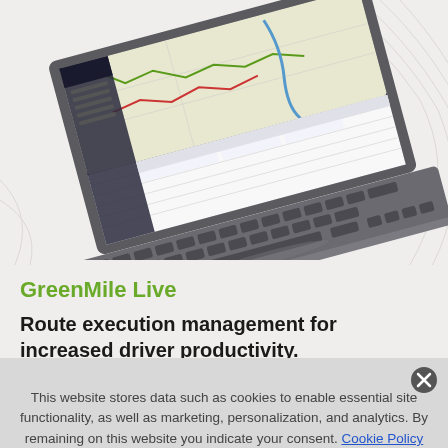[Figure (screenshot): Laptop computer with an open screen showing a route management software interface with a map view and data table, floating on a light grey background with decorative contour line patterns]
GreenMile Live
Route execution management for increased driver productivity.
This website stores data such as cookies to enable essential site functionality, as well as marketing, personalization, and analytics. By remaining on this website you indicate your consent. Cookie Policy